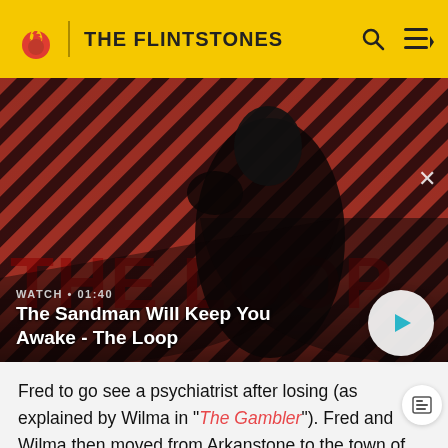THE FLINTSTONES
[Figure (screenshot): Video thumbnail showing a dark figure with a raven on his shoulder against a red and black diagonal striped background. Text overlay reads THE LOOP. Watch duration shown as 01:40. Play button visible in bottom right of thumbnail.]
WATCH • 01:40
The Sandman Will Keep You Awake - The Loop
Fred to go see a psychiatrist after losing (as explained by Wilma in "The Gambler"). Fred and Wilma then moved from Arkanstone to the town of Bedrock and it would remain their home ever since.